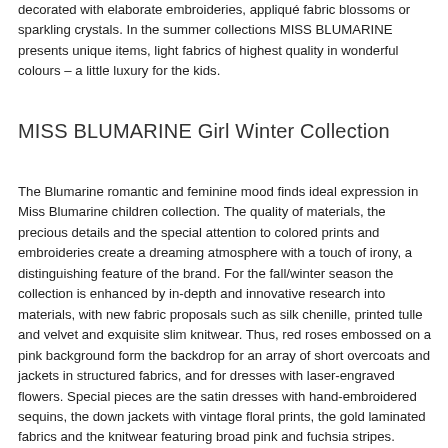decorated with elaborate embroideries, appliquéd fabric blossoms or sparkling crystals. In the summer collections MISS BLUMARINE presents unique items, light fabrics of highest quality in wonderful colours – a little luxury for the kids.
MISS BLUMARINE Girl Winter Collection
The Blumarine romantic and feminine mood finds ideal expression in Miss Blumarine children collection. The quality of materials, the precious details and the special attention to colored prints and embroideries create a dreaming atmosphere with a touch of irony, a distinguishing feature of the brand. For the fall/winter season the collection is enhanced by in-depth and innovative research into materials, with new fabric proposals such as silk chenille, printed tulle and velvet and exquisite slim knitwear. Thus, red roses embossed on a pink background form the backdrop for an array of short overcoats and jackets in structured fabrics, and for dresses with laser-engraved flowers. Special pieces are the satin dresses with hand-embroidered sequins, the down jackets with vintage floral prints, the gold laminated fabrics and the knitwear featuring broad pink and fuchsia stripes.